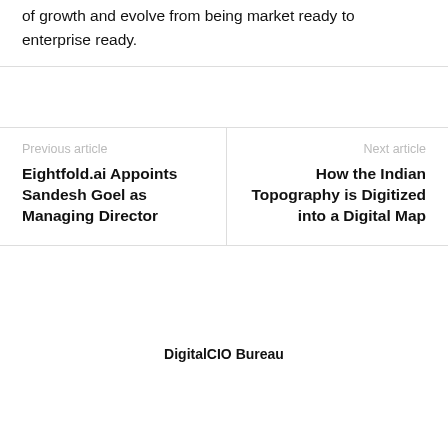of growth and evolve from being market ready to enterprise ready.
Previous article
Eightfold.ai Appoints Sandesh Goel as Managing Director
Next article
How the Indian Topography is Digitized into a Digital Map
DigitalCIO Bureau